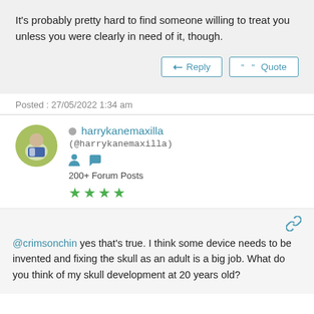It's probably pretty hard to find someone willing to treat you unless you were clearly in need of it, though.
Posted : 27/05/2022 1:34 am
harrykanemaxilla (@harrykanemaxilla) 200+ Forum Posts
@crimsonchin yes that's true. I think some device needs to be invented and fixing the skull as an adult is a big job. What do you think of my skull development at 20 years old?